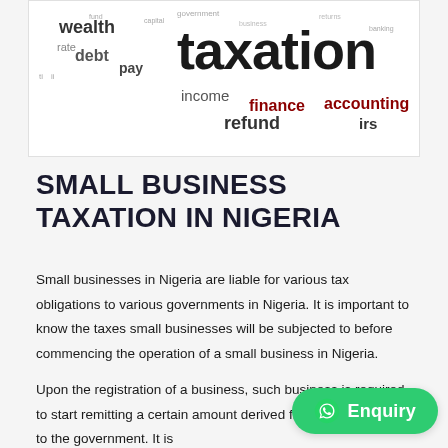[Figure (infographic): Word cloud related to taxation featuring words: taxation (large, bold, black), wealth, debt, rate, pay, income, finance, accounting, refund, irs, and other smaller tax-related terms in various colors including black, dark red/maroon, and gray.]
SMALL BUSINESS TAXATION IN NIGERIA
Small businesses in Nigeria are liable for various tax obligations to various governments in Nigeria. It is important to know the taxes small businesses will be subjected to before commencing the operation of a small business in Nigeria.
Upon the registration of a business, such business is required to start remitting a certain amount derived from the business to the government. It is important to state that small businesses are expected to